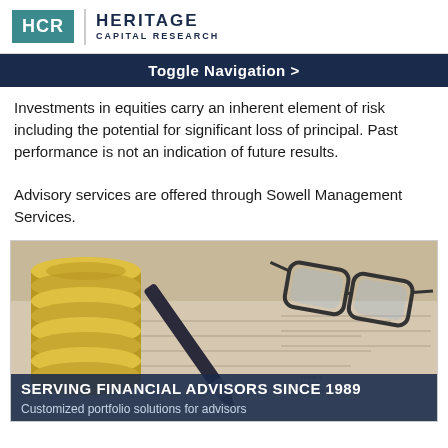HCR | HERITAGE CAPITAL RESEARCH
Toggle Navigation >
Investments in equities carry an inherent element of risk including the potential for significant loss of principal. Past performance is not an indication of future results.

Advisory services are offered through Sowell Management Services.
[Figure (photo): Photo of stacked coins, a pen, and eyeglasses resting on financial documents. Overlay text reads: SERVING FINANCIAL ADVISORS SINCE 1989 / Customized portfolio solutions for advisors]
SERVING FINANCIAL ADVISORS SINCE 1989
Customized portfolio solutions for advisors